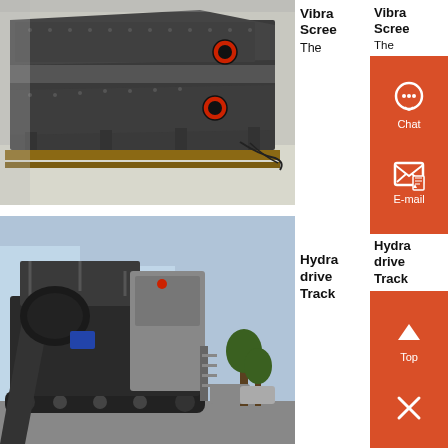[Figure (photo): Industrial vibrating screen machine on a factory floor, dark grey metal construction with red circular bearing covers on the side panels.]
Vibra Screen
The
[Figure (photo): Hydraulic-driven track-mounted mobile crusher/screening plant on an outdoor industrial site with vehicles visible in background.]
Hydraulic driven Track
[Figure (other): Sidebar with orange/red background showing Chat icon with headphones, E-mail icon, Top (scroll-up arrow) button, and close (X) button.]